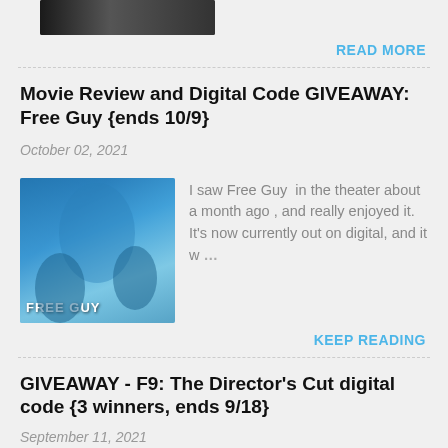[Figure (photo): Partial movie thumbnail at top of page, dark background with figures]
READ MORE
Movie Review and Digital Code GIVEAWAY: Free Guy {ends 10/9}
October 02, 2021
[Figure (photo): Free Guy movie poster thumbnail — blue sky, characters from the film]
I saw Free Guy  in the theater about a month ago , and really enjoyed it. It's now currently out on digital, and it w…
KEEP READING
GIVEAWAY - F9: The Director's Cut digital code {3 winners, ends 9/18}
September 11, 2021
[Figure (photo): Partial movie thumbnail at bottom — yellow, orange and blue colors]